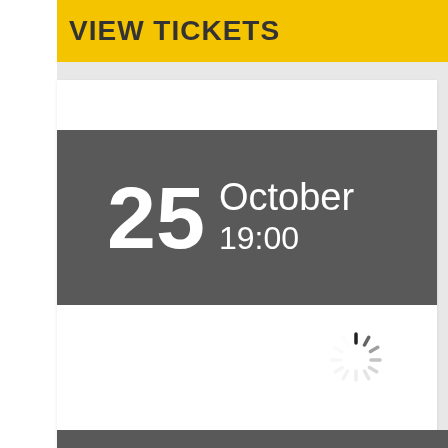VIEW TICKETS
25 October 19:00
[Figure (other): Loading spinner icon — a circular spinner with radial lines in gray/dark, indicating content is loading]